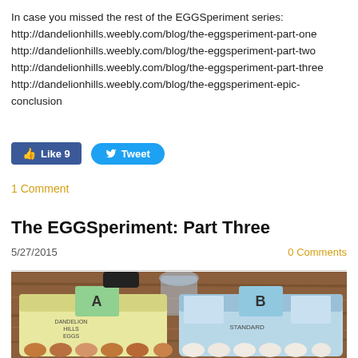In case you missed the rest of the EGGSperiment series: http://dandelionhills.weebly.com/blog/the-eggsperiment-part-one http://dandelionhills.weebly.com/blog/the-eggsperiment-part-two http://dandelionhills.weebly.com/blog/the-eggsperiment-part-three http://dandelionhills.weebly.com/blog/the-eggsperiment-epic-conclusion
[Figure (screenshot): Facebook Like button showing count of 9 and Twitter Tweet button]
1 Comment
The EGGSperiment: Part Three
5/27/2015
0 Comments
[Figure (photo): Two egg cartons on a wooden table. Left carton is yellow labeled A with handwritten text 'Dandelion Hills Eggs', right carton is blue labeled B with handwritten text 'Standard'. A water bottle is visible in the background.]